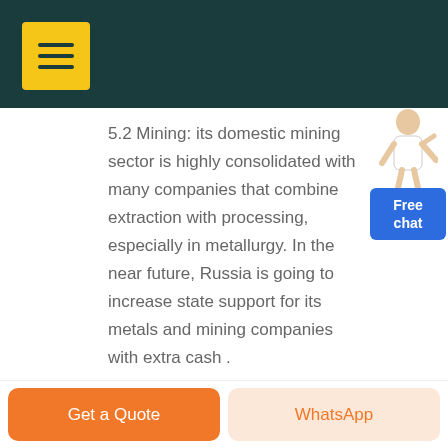5.2 Mining: its domestic mining sector is highly consolidated with many companies that combine extraction with processing, especially in metallurgy. In the near future, Russia is going to increase state support for its metals and mining companies with extra cash .
[Figure (illustration): Free chat widget with a person illustration and blue box labeled 'Free chat']
GET PRICE
Get a Quote | WhatsApp